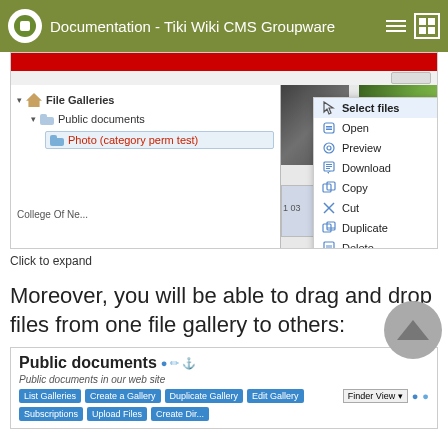Documentation - Tiki Wiki CMS Groupware
[Figure (screenshot): Tiki Wiki CMS file galleries interface showing a context menu with options: Select files, Open, Preview, Download, Copy, Cut, Duplicate, Delete, Rename, Get info]
Click to expand
Moreover, you will be able to drag and drop files from one file gallery to others:
[Figure (screenshot): Tiki Wiki CMS Public documents gallery panel showing gallery management buttons: List Galleries, Create a Gallery, Duplicate Gallery, Edit Gallery, and a Finder View dropdown]